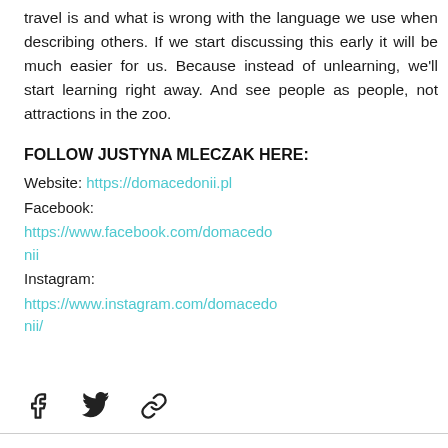travel is and what is wrong with the language we use when describing others. If we start discussing this early it will be much easier for us. Because instead of unlearning, we'll start learning right away. And see people as people, not attractions in the zoo.
FOLLOW JUSTYNA MLECZAK HERE:
Website: https://domacedonii.pl
Facebook: https://www.facebook.com/domacedonii
Instagram: https://www.instagram.com/domacedonii/
[Figure (illustration): Social media share icons: Facebook (f), Twitter (bird), and a chain/link icon]